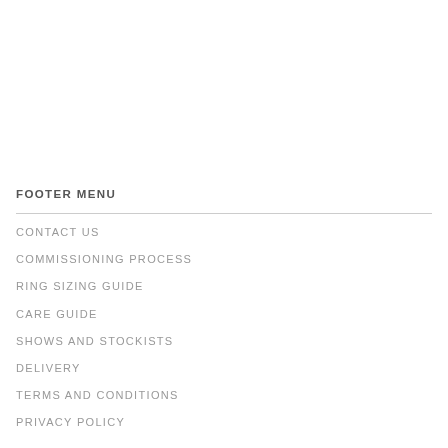FOOTER MENU
CONTACT US
COMMISSIONING PROCESS
RING SIZING GUIDE
CARE GUIDE
SHOWS AND STOCKISTS
DELIVERY
TERMS AND CONDITIONS
PRIVACY POLICY